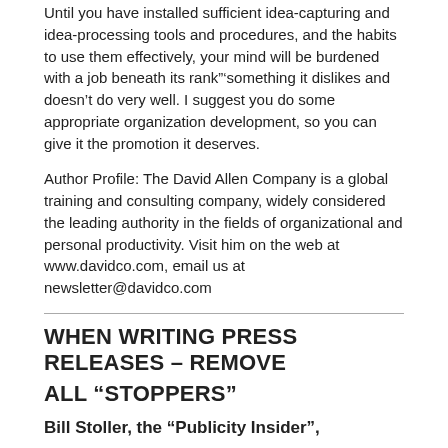Until you have installed sufficient idea-capturing and idea-processing tools and procedures, and the habits to use them effectively, your mind will be burdened with a job beneath its rank”‘something it dislikes and doesn’t do very well. I suggest you do some appropriate organization development, so you can give it the promotion it deserves.
Author Profile: The David Allen Company is a global training and consulting company, widely considered the leading authority in the fields of organizational and personal productivity. Visit him on the web at www.davidco.com, email us at newsletter@davidco.com
WHEN WRITING PRESS RELEASES – REMOVE ALL “STOPPERS”
Bill Stoller, the “Publicity Insider”,
In baseball, it’s said that you know an umpire is top-notch when you never notice his presence. If he’s doing his job, he won’t call attention to himself in any way. It’s much the same for the writer of a press release. When the recipient of a release focuses only on its content — and not on its creation — the writer has succeeded.